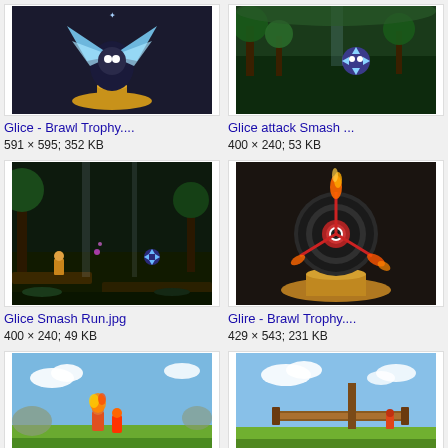[Figure (photo): Glice Brawl Trophy figure on gold pedestal with blue wings/crystals]
Glice - Brawl Trophy....
591 × 595; 352 KB
[Figure (photo): Glice attack in Smash game screenshot with green forest background]
Glice attack Smash ...
400 × 240; 53 KB
[Figure (photo): Glice Smash Run screenshot showing forest level with character]
Glice Smash Run.jpg
400 × 240; 49 KB
[Figure (photo): Glire Brawl Trophy showing spinning blade trophy on gold pedestal with fire]
Glire - Brawl Trophy....
429 × 543; 231 KB
[Figure (photo): Game screenshot showing character with fire effects on grassy field]
[Figure (photo): Game screenshot showing character near wooden structure on grassy field]